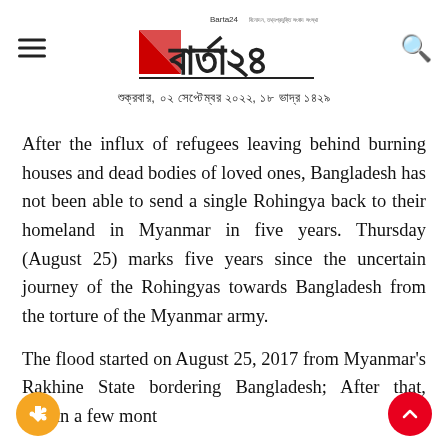Barta24 — শুক্রবার, ০২ সেপ্টেম্বর ২০২২, ১৮ ভাদ্র ১৪২৯
After the influx of refugees leaving behind burning houses and dead bodies of loved ones, Bangladesh has not been able to send a single Rohingya back to their homeland in Myanmar in five years. Thursday (August 25) marks five years since the uncertain journey of the Rohingyas towards Bangladesh from the torture of the Myanmar army.
The flood started on August 25, 2017 from Myanmar's Rakhine State bordering Bangladesh; After that, within a few months 750,000 Rohingyas for repatriation from...